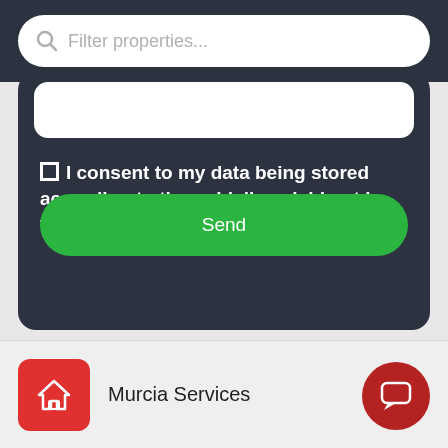Filter properties...
I consent to my data being stored according to the guidelines laid out in the privacy policy
Send
Murcia Services